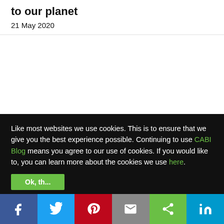to our planet
21 May 2020
Like most websites we use cookies. This is to ensure that we give you the best experience possible. Continuing to use CABI Blog means you agree to our use of cookies. If you would like to, you can learn more about the cookies we use here.